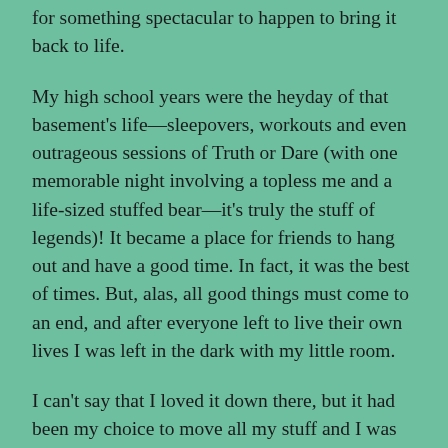for something spectacular to happen to bring it back to life.
My high school years were the heyday of that basement's life—sleepovers, workouts and even outrageous sessions of Truth or Dare (with one memorable night involving a topless me and a life-sized stuffed bear—it's truly the stuff of legends)! It became a place for friends to hang out and have a good time. In fact, it was the best of times. But, alas, all good things must come to an end, and after everyone left to live their own lives I was left in the dark with my little room.
I can't say that I loved it down there, but it had been my choice to move all my stuff and I was going to see things through to the end. My parents were cool enough to let me try to paint my own walls (a terrible idea that has led to about five coats of paint by now) and I had a shower curtain for a closet door. I had my own desk (that held